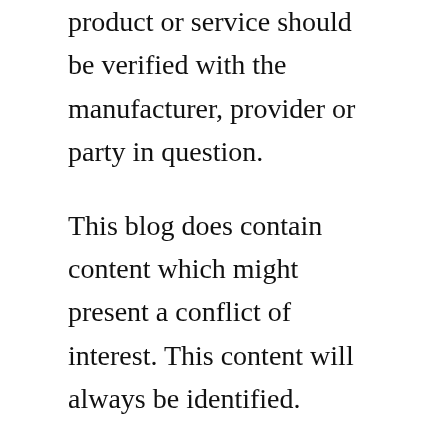product or service should be verified with the manufacturer, provider or party in question.
This blog does contain content which might present a conflict of interest. This content will always be identified.
We are a participant in the Amazon Services LLC Associates Program, an affiliate advertising program designed to provide a means for us to earn fees by linking to Amazon.com and affiliated sites.